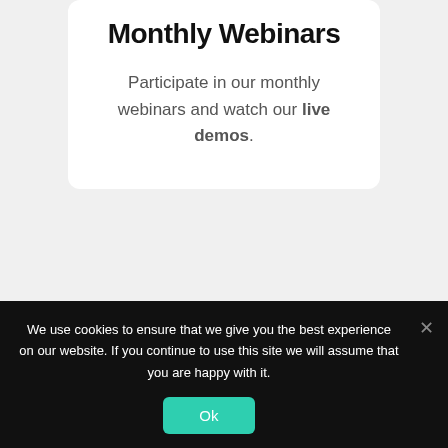Monthly Webinars
Participate in our monthly webinars and watch our live demos.
We use cookies to ensure that we give you the best experience on our website. If you continue to use this site we will assume that you are happy with it.